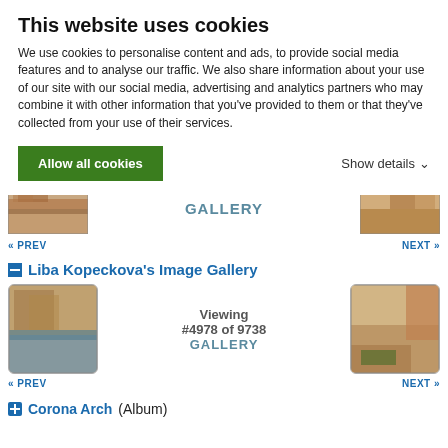This website uses cookies
We use cookies to personalise content and ads, to provide social media features and to analyse our traffic. We also share information about your use of our site with our social media, advertising and analytics partners who may combine it with other information that you've provided to them or that they've collected from your use of their services.
Allow all cookies
Show details
[Figure (photo): Thumbnail of canyon/desert landscape, previous image]
GALLERY
[Figure (photo): Thumbnail of desert landscape, next image]
« PREV
NEXT »
Liba Kopeckova's Image Gallery
[Figure (photo): Thumbnail of canyon with water/lake, previous image]
Viewing #4978 of 9738 GALLERY
[Figure (photo): Thumbnail of red rock canyon landscape, next image]
« PREV
NEXT »
Corona Arch(Album)